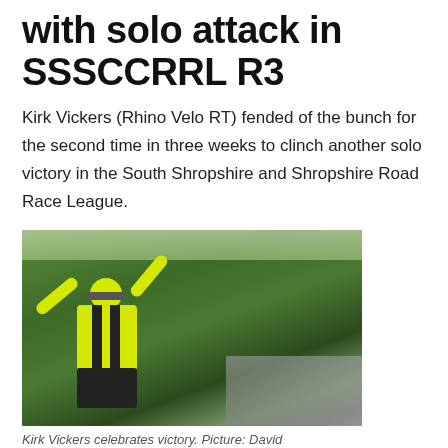with solo attack in SSSCCRRL R3
Kirk Vickers (Rhino Velo RT) fended of the bunch for the second time in three weeks to clinch another solo victory in the South Shropshire and Shropshire Road Race League.
[Figure (photo): A cyclist in a yellow and black jersey with arms raised in victory celebration, followed by a group of cyclists on a road race.]
Kirk Vickers celebrates victory. Picture: David